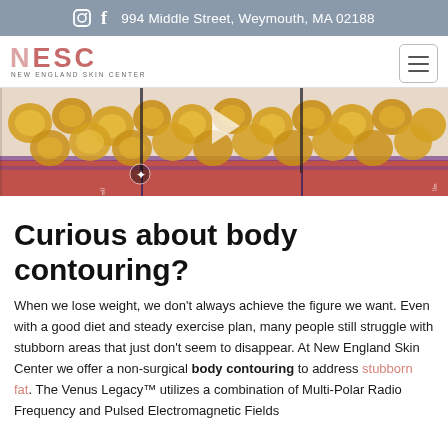994 Middle Street, Weymouth, MA 02188
[Figure (screenshot): New England Skin Center website navigation bar with logo (NESC / New England Skin Center) and hamburger menu icon on the right]
[Figure (photo): Medical illustration showing fat cells (yellow spheres) beneath skin layers with purple and red anatomical structures visible — body contouring treatment visual]
Curious about body contouring?
When we lose weight, we don't always achieve the figure we want. Even with a good diet and steady exercise plan, many people still struggle with stubborn areas that just don't seem to disappear. At New England Skin Center we offer a non-surgical body contouring to address stubborn fat. The Venus Legacy™ utilizes a combination of Multi-Polar Radio Frequency and Pulsed Electromagnetic Fields